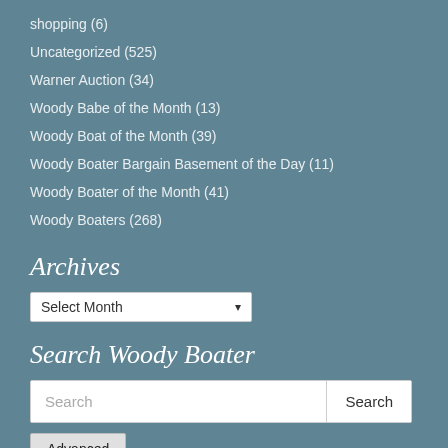shopping (6)
Uncategorized (525)
Warner Auction (34)
Woody Babe of the Month (13)
Woody Boat of the Month (39)
Woody Boater Bargain Basement of the Day (11)
Woody Boater of the Month (41)
Woody Boaters (268)
Archives
Select Month
Search Woody Boater
Search
Advanced
Social